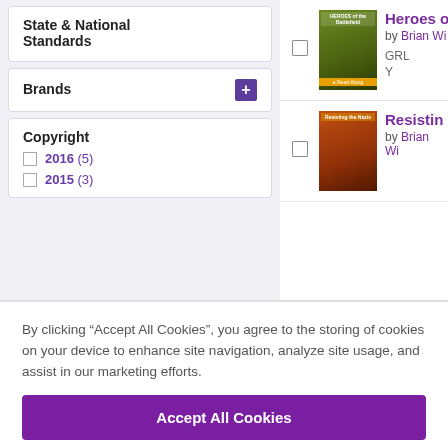State & National Standards
Brands
Copyright
2016 (5)
2015 (3)
Heroes of the Battlefield by Brian Wi...
GRL  L
Y  10
Resisting the Nazis by Brian Wi...
By clicking “Accept All Cookies”, you agree to the storing of cookies on your device to enhance site navigation, analyze site usage, and assist in our marketing efforts.
Accept All Cookies
Cookies Settings